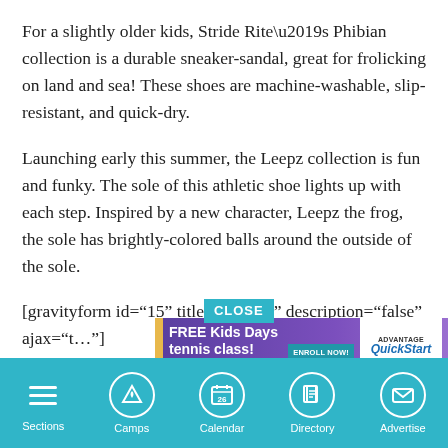For a slightly older kids, Stride Rite’s Phibian collection is a durable sneaker-sandal, great for frolicking on land and sea! These shoes are machine-washable, slip-resistant, and quick-dry.
Launching early this summer, the Leepz collection is fun and funky. The sole of this athletic shoe lights up with each step. Inspired by a new character, Leepz the frog, the sole has brightly-colored balls around the outside of the sole.
[gravityform id=“15” title="false" description=“false” ajax=“t…”]
“There… ight
[Figure (screenshot): Advertisement banner: FREE Kids Days tennis class! Big fun for little ones! 2 NYC spots! ENROLL NOW! Advantage QuickStart Tennis logo. With a CLOSE button overlay.]
Sections | Camps | Calendar | Directory | Advertise